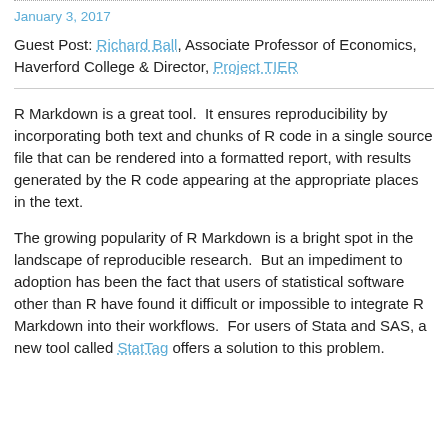January 3, 2017
Guest Post: Richard Ball, Associate Professor of Economics, Haverford College & Director, Project TIER
R Markdown is a great tool.  It ensures reproducibility by incorporating both text and chunks of R code in a single source file that can be rendered into a formatted report, with results generated by the R code appearing at the appropriate places in the text.
The growing popularity of R Markdown is a bright spot in the landscape of reproducible research.  But an impediment to adoption has been the fact that users of statistical software other than R have found it difficult or impossible to integrate R Markdown into their workflows.  For users of Stata and SAS, a new tool called StatTag offers a solution to this problem.